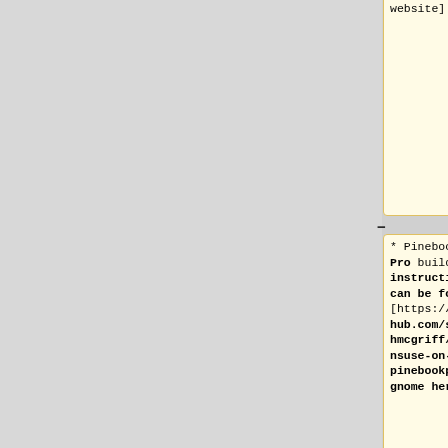website].
.php?
tid=14061
PINE64 forum
thread].
* Pinebook Pro build instructions can be found [https://github.com/smithmcgriff/opensuse-on-pinebookpro-gnome here]
* DD image (for 4 GiB micro SD card and above)
* DD image (for 16GB micoSD card / eMMC module and above)
** [https://dietpi.com/downloads/images/DietPi_PinebookPro-ARMv8-